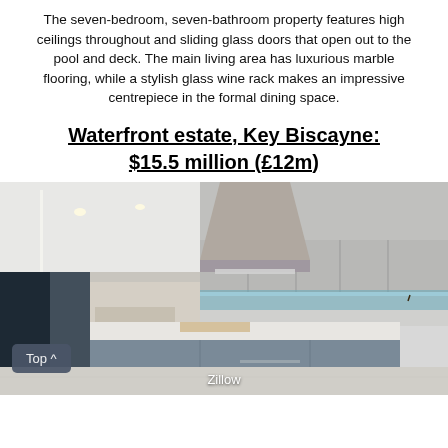The seven-bedroom, seven-bathroom property features high ceilings throughout and sliding glass doors that open out to the pool and deck. The main living area has luxurious marble flooring, while a stylish glass wine rack makes an impressive centrepiece in the formal dining space.
Waterfront estate, Key Biscayne: $15.5 million (£12m)
[Figure (photo): Modern luxury kitchen with large island, stainless steel range hood, grey cabinetry, under-cabinet lighting, and open living area in background. Zillow watermark at bottom.]